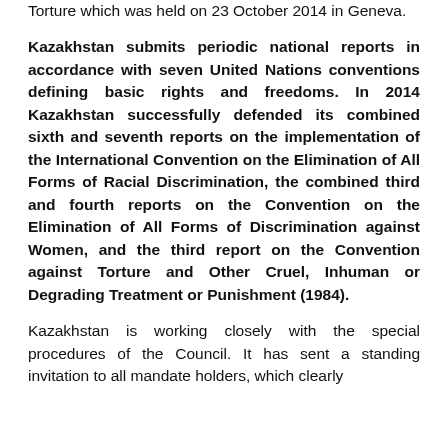Torture which was held on 23 October 2014 in Geneva.
Kazakhstan submits periodic national reports in accordance with seven United Nations conventions defining basic rights and freedoms. In 2014 Kazakhstan successfully defended its combined sixth and seventh reports on the implementation of the International Convention on the Elimination of All Forms of Racial Discrimination, the combined third and fourth reports on the Convention on the Elimination of All Forms of Discrimination against Women, and the third report on the Convention against Torture and Other Cruel, Inhuman or Degrading Treatment or Punishment (1984).
Kazakhstan is working closely with the special procedures of the Council. It has sent a standing invitation to all mandate holders, which clearly demonstrates the openness of the country to international scrutiny.